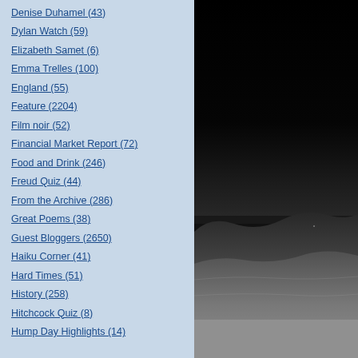Denise Duhamel (43)
Dylan Watch (59)
Elizabeth Samet (6)
Emma Trelles (100)
England (55)
Feature (2204)
Film noir (52)
Financial Market Report (72)
Food and Drink (246)
Freud Quiz (44)
From the Archive (286)
Great Poems (38)
Guest Bloggers (2650)
Haiku Corner (41)
Hard Times (51)
History (258)
Hitchcock Quiz (8)
Hump Day Highlights (14)
[Figure (photo): A dark landscape photograph showing a black sky at the top and rolling hills or terrain in grayscale below, fading from dark to lighter tones at the bottom.]